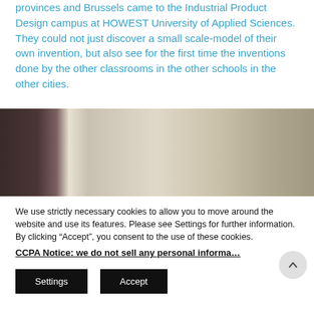provinces and Brussels came to the Industrial Product Design campus at HOWEST University of Applied Sciences. They could not just discover a small scale-model of their own invention, but also see for the first time the inventions done by the other classrooms in the other schools in the other cities.
[Figure (photo): Close-up photograph of what appears to be metallic or reflective surfaces, likely a scale model or product design object, with dark and light tones.]
We use strictly necessary cookies to allow you to move around the website and use its features. Please see Settings for further information. By clicking “Accept”, you consent to the use of these cookies.
CCPA Notice: we do not sell any personal informa…